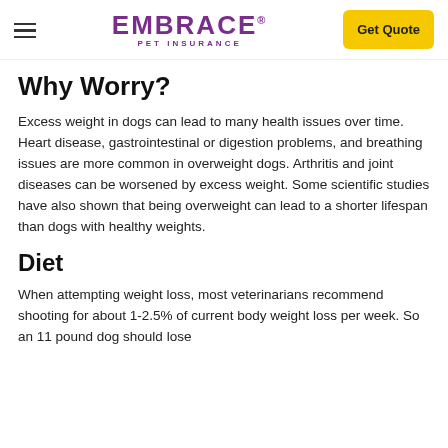EMBRACE PET INSURANCE | Get Quote
Why Worry?
Excess weight in dogs can lead to many health issues over time. Heart disease, gastrointestinal or digestion problems, and breathing issues are more common in overweight dogs. Arthritis and joint diseases can be worsened by excess weight. Some scientific studies have also shown that being overweight can lead to a shorter lifespan than dogs with healthy weights.
Diet
When attempting weight loss, most veterinarians recommend shooting for about 1-2.5% of current body weight loss per week. So an 11 pound dog should lose